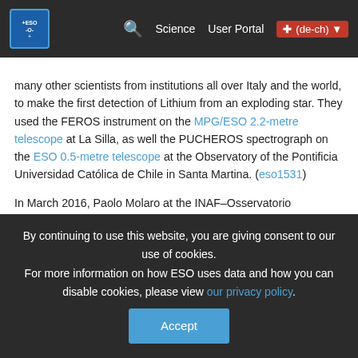ESO navigation bar with logo, search, Science, User Portal, (de-ch) country selector
many other scientists from institutions all over Italy and the world, to make the first detection of Lithium from an exploding star. They used the FEROS instrument on the MPG/ESO 2.2-metre telescope at La Silla, as well the PUCHEROS spectrograph on the ESO 0.5-metre telescope at the Observatory of the Pontificia Universidad Católica de Chile in Santa Martina. (eso1531)
In March 2016, Paolo Molaro at the INAF–Osservatorio Astronomico di Trieste led many other scientists from institutions all over Italy and the world to reveal unexpected changes in the bright spots on the dwarf planet Ceres. Observations were made using the HARPS spectrograph at ESO's La Silla Observatory. (eso1609)
In April 2016, Enrichetta Iodice at INAF–Osservatorio di Capodimonte in Naples led a European team as they captured
By continuing to use this website, you are giving consent to our use of cookies.
For more information on how ESO uses data and how you can disable cookies, please view our privacy policy.